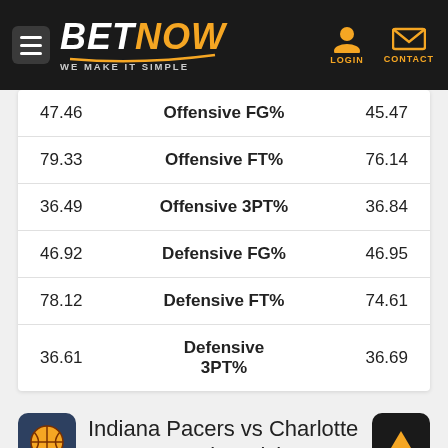BETNOW - WE MAKE IT SIMPLE
| Left | Stat | Right |
| --- | --- | --- |
| 47.46 | Offensive FG% | 45.47 |
| 79.33 | Offensive FT% | 76.14 |
| 36.49 | Offensive 3PT% | 36.84 |
| 46.92 | Defensive FG% | 46.95 |
| 78.12 | Defensive FT% | 74.61 |
| 36.61 | Defensive 3PT% | 36.69 |
Indiana Pacers vs Charlotte Hornets Betting Picks
...